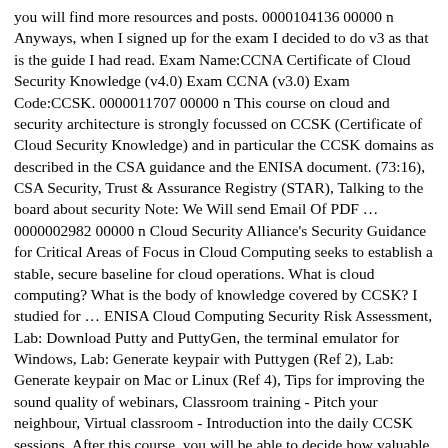you will find more resources and posts. 0000104136 00000 n Anyways, when I signed up for the exam I decided to do v3 as that is the guide I had read. Exam Name:CCNA Certificate of Cloud Security Knowledge (v4.0) Exam CCNA (v3.0) Exam Code:CCSK. 0000011707 00000 n This course on cloud and security architecture is strongly focussed on CCSK (Certificate of Cloud Security Knowledge) and in particular the CCSK domains as described in the CSA guidance and the ENISA document. (73:16), CSA Security, Trust & Assurance Registry (STAR), Talking to the board about security Note: We Will send Email Of PDF … 0000002982 00000 n Cloud Security Alliance's Security Guidance for Critical Areas of Focus in Cloud Computing seeks to establish a stable, secure baseline for cloud operations. What is cloud computing? What is the body of knowledge covered by CCSK? I studied for … ENISA Cloud Computing Security Risk Assessment, Lab: Download Putty and PuttyGen, the terminal emulator for Windows, Lab: Generate keypair with Puttygen (Ref 2), Lab: Generate keypair on Mac or Linux (Ref 4), Tips for improving the sound quality of webinars, Classroom training - Pitch your neighbour, Virtual classroom - Introduction into the daily CCSK sessions. After this course, you will be able to decide how valuable the CCSK is, and you will understand how you can attain the certification. 0000112935 00000 n The Certificate of Cloud Security Knowledge (CCSK) Foundation class provides students a comprehensive one day review of cloud security